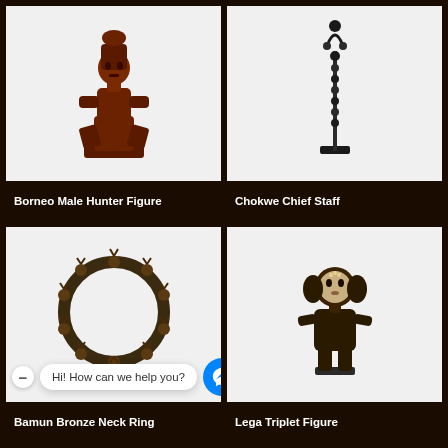[Figure (photo): Borneo Male Hunter Figure — dark reddish-brown carved wooden seated figure with headdress]
Borneo Male Hunter Figure
[Figure (photo): Chokwe Chief Staff — tall slender dark metal ceremonial staff with ornate top, on square base]
Chokwe Chief Staff
[Figure (photo): Bamun Bronze Neck Ring — circular bronze neck ring decorated with animal head motifs arranged around the ring]
Bamun Bronze Neck Ring
[Figure (photo): Lega Triplet Figure — dark carved wooden standing figure with distinctive white face/mask and large ears]
Lega Triplet Figure